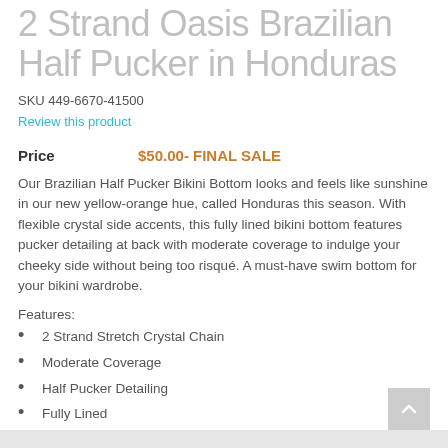2 Strand Oasis Brazilian Half Pucker in Honduras
SKU 449-6670-41500
Review this product
Price   $50.00- FINAL SALE
Our Brazilian Half Pucker Bikini Bottom looks and feels like sunshine in our new yellow-orange hue, called Honduras this season. With flexible crystal side accents, this fully lined bikini bottom features pucker detailing at back with moderate coverage to indulge your cheeky side without being too risqué. A must-have swim bottom for your bikini wardrobe.
Features:
2 Strand Stretch Crystal Chain
Moderate Coverage
Half Pucker Detailing
Fully Lined
Fabric is Matte Finish in Honduras